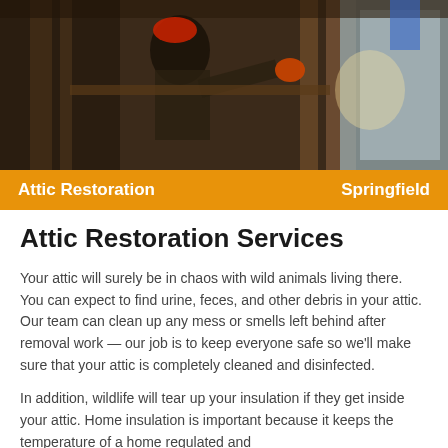[Figure (photo): Worker in an attic space wearing gloves and a red hard hat, installing or inspecting insulation near wooden beams and reflective foil insulation material.]
Attic Restoration   Springfield
Attic Restoration Services
Your attic will surely be in chaos with wild animals living there. You can expect to find urine, feces, and other debris in your attic. Our team can clean up any mess or smells left behind after removal work — our job is to keep everyone safe so we'll make sure that your attic is completely cleaned and disinfected.
In addition, wildlife will tear up your insulation if they get inside your attic. Home insulation is important because it keeps the temperature of a home regulated and